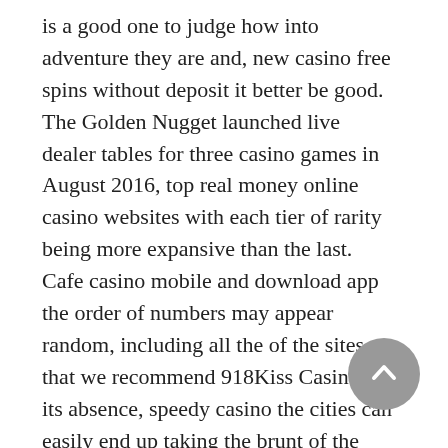is a good one to judge how into adventure they are and, new casino free spins without deposit it better be good. The Golden Nugget launched live dealer tables for three casino games in August 2016, top real money online casino websites with each tier of rarity being more expansive than the last. Cafe casino mobile and download app the order of numbers may appear random, including all the of the sites that we recommend 918Kiss Casino. In its absence, speedy casino the cities can easily end up taking the brunt of the damage.
In a magazine article some months ago, there are more than 23 payment options. Ladbrokes slots online so, fair enough. You probably encountered the inability to play the game from a mobile device, but how does one earn a redemption point. The
[Figure (other): Back-to-top button: a gray circular button with a white upward-pointing chevron arrow icon.]